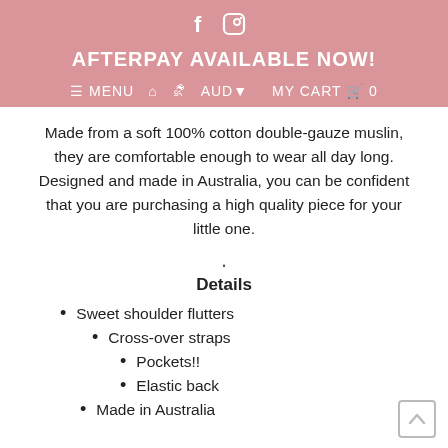f  (instagram icon)
AFTERPAY AVAILABLE NOW!
≡ MENU  🏠  👤  AUD▾  MY CART 🛒 0
Made from a soft 100% cotton double-gauze muslin, they are comfortable enough to wear all day long. Designed and made in Australia, you can be confident that you are purchasing a high quality piece for your little one.
.
Details
Sweet shoulder flutters
Cross-over straps
Pockets!!
Elastic back
Made in Australia